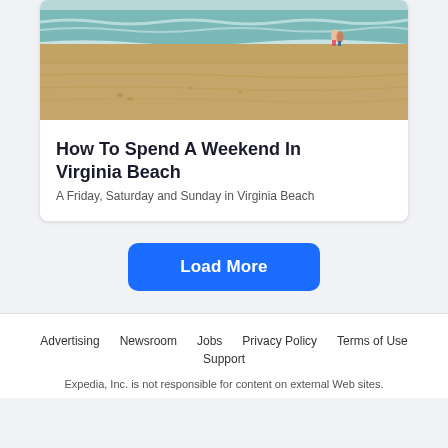[Figure (photo): Beach scene with sandy shore, ocean waves, and two people standing in the water]
How To Spend A Weekend In Virginia Beach
A Friday, Saturday and Sunday in Virginia Beach
Load More
Advertising  Newsroom  Jobs  Privacy Policy  Terms of Use  Support
Expedia, Inc. is not responsible for content on external Web sites.